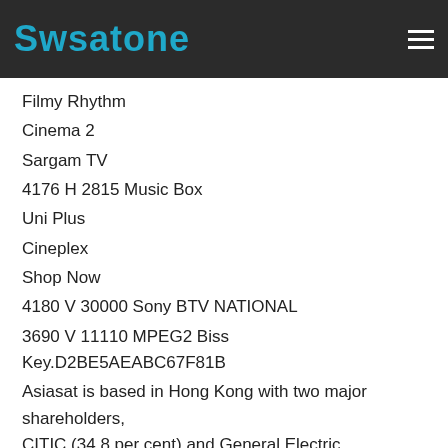Swsatone
Filmy Rhythm
Cinema 2
Sargam TV
4176 H 2815 Music Box
Uni Plus
Cineplex
Shop Now
4180 V 30000 Sony BTV NATIONAL
3690 V 11110 MPEG2 Biss Key.D2BE5AEABC67F81B
Asiasat is based in Hong Kong with two major shareholders, CITIC (34.8 per cent) and General Electric (34.1 per cent). It was Founded in 1988. Its Asia's (India,Pakistan & other countries) no. 1 Satellite. Its mostly tuned in these countries. It has a lot of popular channels like...